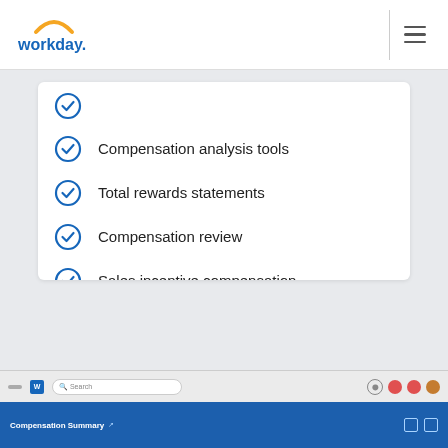[Figure (logo): Workday logo with orange arc above 'workday.' text in blue]
Compensation analysis tools
Total rewards statements
Compensation review
Sales incentive compensation
Executive compensation
[Figure (screenshot): Bottom screenshot showing Workday application taskbar and a blue Compensation Summary navigation bar]